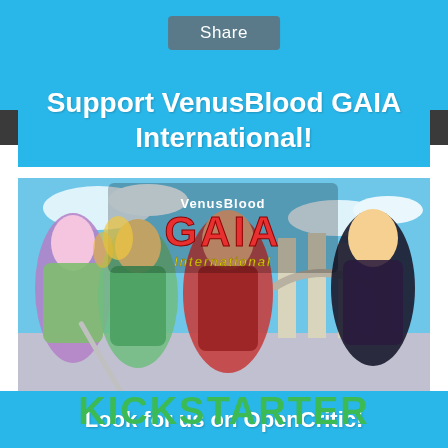Share
Support VenusBlood GAIA International!
[Figure (illustration): VenusBlood GAIA International game promotional image featuring anime characters and the game logo, with a Kickstarter logo below]
KICKSTARTER
Look for us on OpenCritic!